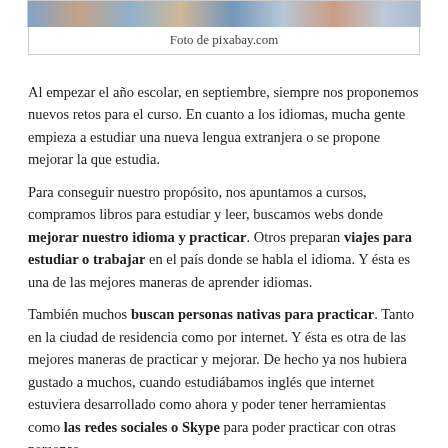[Figure (photo): Photo strip showing people, partially visible at top of page]
Foto de pixabay.com
Al empezar el año escolar, en septiembre, siempre nos proponemos nuevos retos para el curso. En cuanto a los idiomas, mucha gente empieza a estudiar una nueva lengua extranjera o se propone mejorar la que estudia.
Para conseguir nuestro propósito, nos apuntamos a cursos, compramos libros para estudiar y leer, buscamos webs donde mejorar nuestro idioma y practicar. Otros preparan viajes para estudiar o trabajar en el país donde se habla el idioma. Y ésta es una de las mejores maneras de aprender idiomas.
También muchos buscan personas nativas para practicar. Tanto en la ciudad de residencia como por internet. Y ésta es otra de las mejores maneras de practicar y mejorar. De hecho ya nos hubiera gustado a muchos, cuando estudiábamos inglés que internet estuviera desarrollado como ahora y poder tener herramientas como las redes sociales o Skype para poder practicar con otras personas.